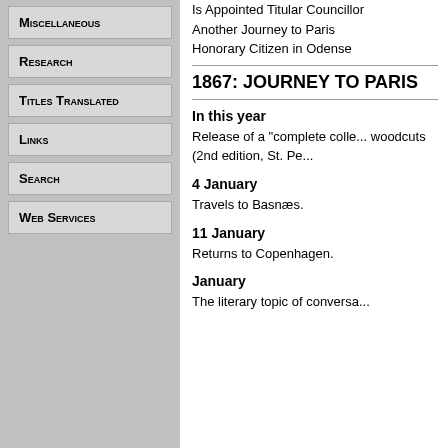Miscellaneous
Research
Titles Translated
Links
Search
Web Services
Is Appointed Titular Councillor
Another Journey to Paris
Honorary Citizen in Odense
1867: JOURNEY TO PARIS
In this year
Release of a "complete colle... woodcuts (2nd edition, St. Pe...
4 January
Travels to Basnæs.
11 January
Returns to Copenhagen.
January
The literary topic of conversa...